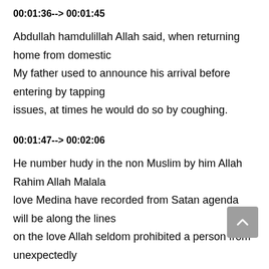00:01:36--> 00:01:45
Abdullah hamdulillah Allah said, when returning home from domestic My father used to announce his arrival before entering by tapping issues, at times he would do so by coughing.
00:01:47--> 00:02:06
He number hudy in the non Muslim by him Allah Rahim Allah Malala love Medina have recorded from Satan agenda will be along the lines on the love Allah seldom prohibited a person from unexpectedly surprising his family at night, whether returning from travel or otherwise, as though he mistrust them or is merely searching for a fault.
00:02:07--> 00:02:16
So here the author shares a brief chapter on announcing your